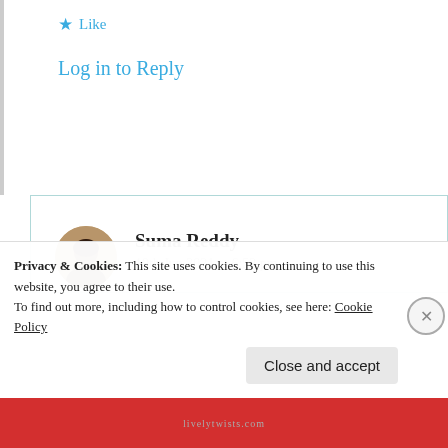★ Like
Log in to Reply
Suma Reddy
19th Jun 2021 at 6:52 pm
Hi Julia, I really apologize. I am really not sure how your comment went into
Privacy & Cookies: This site uses cookies. By continuing to use this website, you agree to their use.
To find out more, including how to control cookies, see here: Cookie Policy
Close and accept